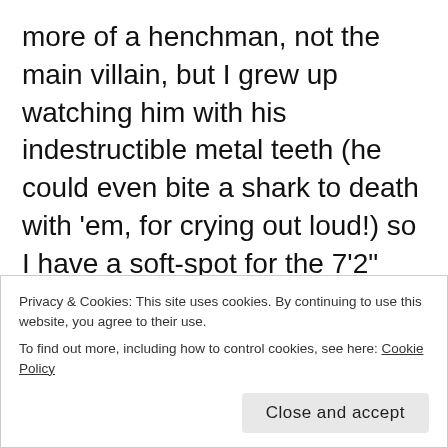more of a henchman, not the main villain, but I grew up watching him with his indestructible metal teeth (he could even bite a shark to death with 'em, for crying out loud!) so I have a soft-spot for the 7'2" creature. His fight scenes with Bond are fun to watch as they're quite funny as Bond has to be extra creative to survive, and he's the only adversary Bond can't seem manage to kill which ends up becoming his ally in Moonraker.
Privacy & Cookies: This site uses cookies. By continuing to use this website, you agree to their use.
To find out more, including how to control cookies, see here: Cookie Policy
Close and accept